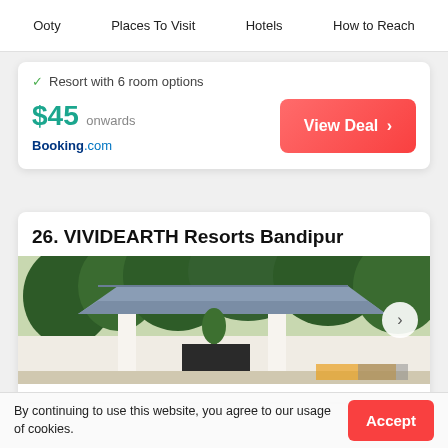Ooty   Places To Visit   Hotels   How to Reach
Resort with 6 room options
$45 onwards
Booking.com
View Deal ›
26. VIVIDEARTH Resorts Bandipur
[Figure (photo): Exterior photo of VIVIDEARTH Resorts Bandipur showing a gated entrance with a tiled roof pavilion, white walls, and lush green trees in the background]
By continuing to use this website, you agree to our usage of cookies.
Accept